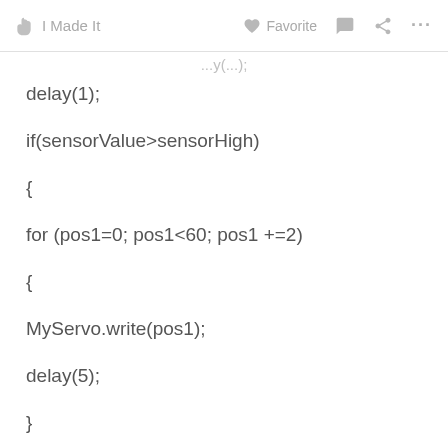✋ I Made It   ♡ Favorite  💬  ⤴  •••
...y(...);
delay(1);
if(sensorValue>sensorHigh)
{
for (pos1=0; pos1<60; pos1 +=2)
{
MyServo.write(pos1);
delay(5);
}